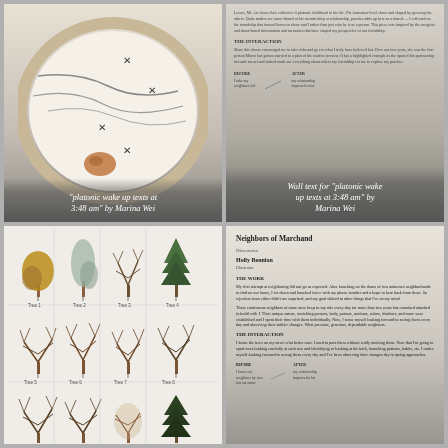[Figure (photo): Top-left: Embroidery hoop artwork with light fabric showing abstract map-like lines and an X mark, with a small orange/brown pebble shape, photographed from above.]
"platonic wake up texts at 3:48 am" by Marina Wei
[Figure (photo): Top-right: Wall text document for the artwork 'platonic wake up texts at 3:48 am' by Marina Wei, with typed text paragraphs including a section titled 'THE INTERACTION' and a before/after comparison at the bottom.]
Wall text for "platonic wake up texts at 3:48 am" by Marina Wei
[Figure (photo): Bottom-left: A grid of 16 tree illustrations showing different tree species in various seasons, arranged in a 4x4 grid with labels beneath each tree, on white background.]
[Figure (photo): Bottom-right: Wall text document titled 'Neighbors of Marchand' with subtitle 'Discussion', author 'Holly Bennion', role 'Illustrator', sections including 'THE WORK' and 'THE INTERACTION' with body text paragraphs and a before/after section at the bottom.]